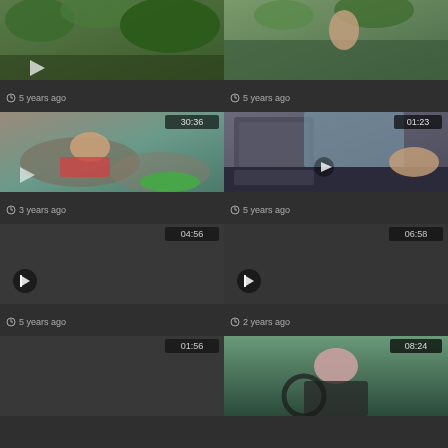[Figure (screenshot): Video thumbnail grid showing 8 video cards in a 2-column layout. Each card has a thumbnail image, duration timestamp, flag icon, and time-ago metadata.]
5 years ago
5 years ago
3 years ago
5 years ago
5 years ago
2 years ago
01:56
08:24